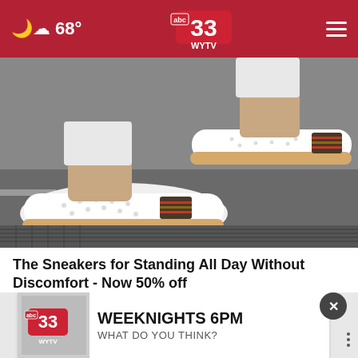68° abc33 WYTV
[Figure (photo): Close-up photo of person's feet wearing white slip-on sneakers with perforated upper, colorful stripe detail, and espadrille-style sole, standing on pavement]
The Sneakers for Standing All Day Without Discomfort - Now 50% off
Sursell
[Figure (logo): ABC 33 WYTV logo with WEEKNIGHTS 6PM text and WHAT DO YOU THINK? subtitle in a banner advertisement]